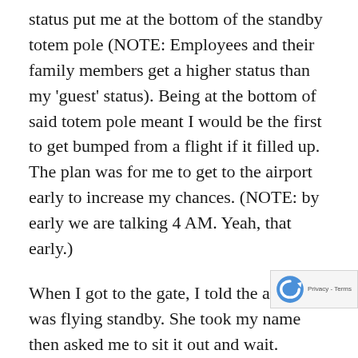status put me at the bottom of the standby totem pole (NOTE: Employees and their family members get a higher status than my 'guest' status). Being at the bottom of said totem pole meant I would be the first to get bumped from a flight if it filled up. The plan was for me to get to the airport early to increase my chances. (NOTE: by early we are talking 4 AM. Yeah, that early.)
When I got to the gate, I told the agent I was flying standby. She took my name then asked me to sit it out and wait. Several moments later my friend in Charlotte said my chances of getting there were slim to none if I followed our original path. She suggested I go speak to the gate agent and ask her advice...